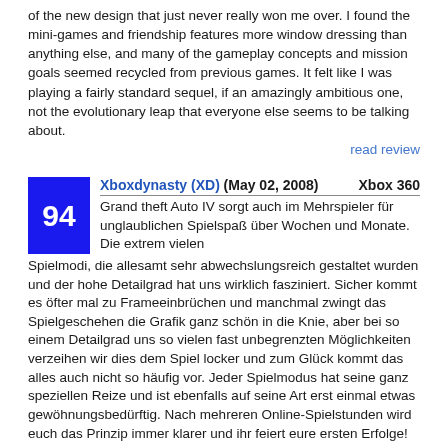of the new design that just never really won me over. I found the mini-games and friendship features more window dressing than anything else, and many of the gameplay concepts and mission goals seemed recycled from previous games. It felt like I was playing a fairly standard sequel, if an amazingly ambitious one, not the evolutionary leap that everyone else seems to be talking about.
read review
Xboxdynasty (XD) (May 02, 2008) Xbox 360
Grand theft Auto IV sorgt auch im Mehrspieler für unglaublichen Spielspaß über Wochen und Monate. Die extrem vielen Spielmodi, die allesamt sehr abwechslungsreich gestaltet wurden und der hohe Detailgrad hat uns wirklich fasziniert. Sicher kommt es öfter mal zu Frameeinbrüchen und manchmal zwingt das Spielgeschehen die Grafik ganz schön in die Knie, aber bei so einem Detailgrad uns so vielen fast unbegrenzten Möglichkeiten verzeihen wir dies dem Spiel locker und zum Glück kommt das alles auch nicht so häufig vor. Jeder Spielmodus hat seine ganz speziellen Reize und ist ebenfalls auf seine Art erst einmal etwas gewöhnungsbedürftig. Nach mehreren Online-Spielstunden wird euch das Prinzip immer klarer und ihr feiert eure ersten Erfolge!
read review
XBox Front (Apr 30, 2008) Xbox 360
Ohne Frage ist Rockstar mit GTA 4 wieder ein Meisterwerk...